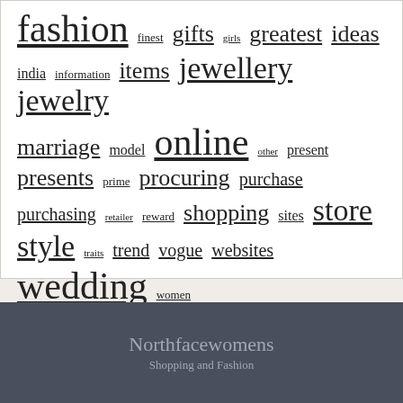fashion finest gifts girls greatest ideas india information items jewellery jewelry marriage model online other present presents prime procuring purchase purchasing retailer reward shopping sites store style traits trend vogue websites wedding women
Northfacewomens
Shopping and Fashion